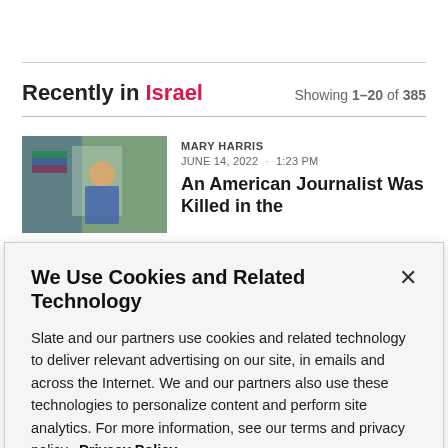Recently in Israel — Showing 1–20 of 385
[Figure (photo): Thumbnail photo of a journalist or person at a rally, with a flag visible in the background]
MARY HARRIS
JUNE 14, 2022 · 1:23 PM
An American Journalist Was Killed in the
We Use Cookies and Related Technology
Slate and our partners use cookies and related technology to deliver relevant advertising on our site, in emails and across the Internet. We and our partners also use these technologies to personalize content and perform site analytics. For more information, see our terms and privacy policy.  Privacy Policy
OK